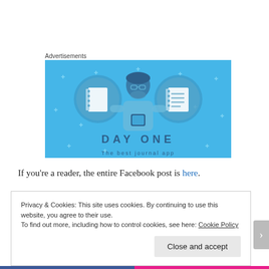Advertisements
[Figure (illustration): Day One app advertisement banner with light blue background. Shows a person holding a phone, flanked by two circular icons with notebook/journal graphics. Text reads 'DAY ONE' in bold. Bottom shows partial tagline text.]
If you’re a reader, the entire Facebook post is here.
Privacy & Cookies: This site uses cookies. By continuing to use this website, you agree to their use.
To find out more, including how to control cookies, see here: Cookie Policy